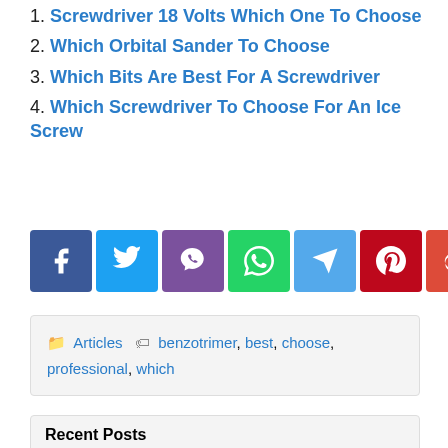1. Screwdriver 18 Volts Which One To Choose
2. Which Orbital Sander To Choose
3. Which Bits Are Best For A Screwdriver
4. Which Screwdriver To Choose For An Ice Screw
[Figure (other): Social share buttons: Facebook, Twitter, Viber, WhatsApp, Telegram, Pinterest, Google+]
Articles  benzotrimer, best, choose, professional, which
Recent Posts
How to run a runinclock block. Why is it so